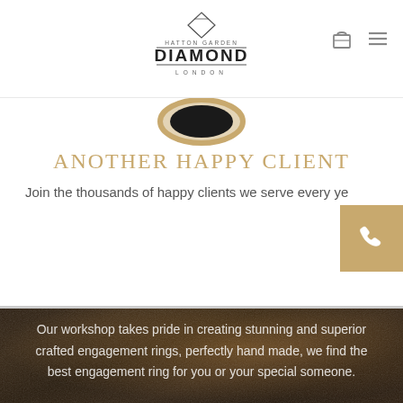HATTON GARDEN DIAMOND LONDON
[Figure (logo): Hatton Garden Diamond London logo with diamond icon, bordered text DIAMOND, and LONDON subtitle]
[Figure (photo): Partial view of a dark ring at top of section]
ANOTHER HAPPY CLIENT
Join the thousands of happy clients we serve every ye[ar]
[Figure (illustration): Gold/tan phone button with handset icon on right side]
[Figure (photo): Dark photo of jeweler's workshop hands crafting a ring]
Our workshop takes pride in creating stunning and superior crafted engagement rings, perfectly hand made, we find the best engagement ring for you or your special someone.